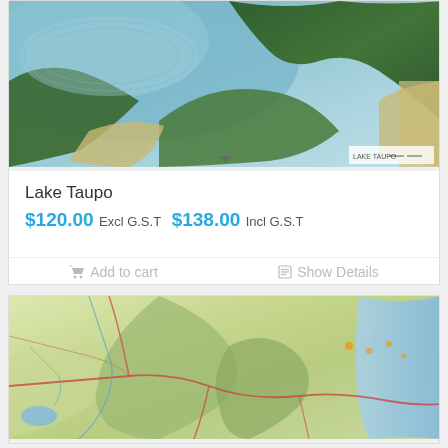[Figure (map): Satellite/topographic map of Lake Taupo, New Zealand, showing blue water, green forested hills, and coastal terrain]
Lake Taupo
$120.00 Excl G.S.T $138.00 Incl G.S.T
Add to cart   Show Details
[Figure (map): Regional topographic road map showing terrain, roads, and settlements in the Hawke's Bay / central North Island region of New Zealand]